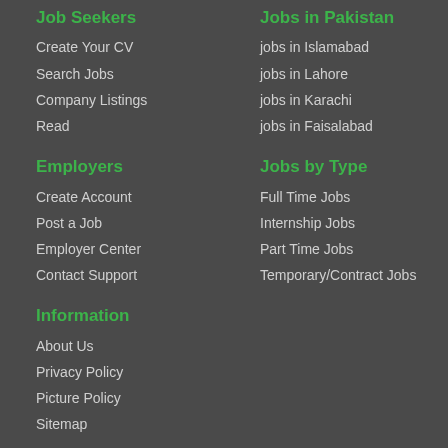Job Seekers
Create Your CV
Search Jobs
Company Listings
Read
Employers
Create Account
Post a Job
Employer Center
Contact Support
Information
About Us
Privacy Policy
Picture Policy
Sitemap
Need help?
FAQs
Jobs in Pakistan
jobs in Islamabad
jobs in Lahore
jobs in Karachi
jobs in Faisalabad
Jobs by Type
Full Time Jobs
Internship Jobs
Part Time Jobs
Temporary/Contract Jobs